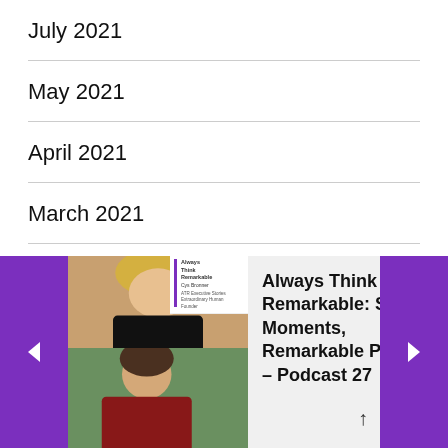July 2021
May 2021
April 2021
March 2021
February 2021
January 2021
[Figure (screenshot): Bottom navigation bar showing a podcast player widget with purple left/right arrow navigation buttons, a podcast thumbnail image, and the title 'Always Think Remarkable: Small Moments, Remarkable People – Podcast 27' with an upward scroll arrow]